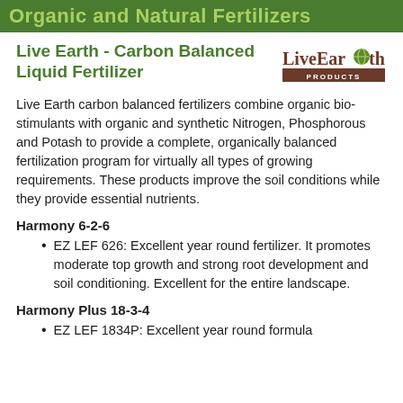Organic and Natural Fertilizers
Live Earth - Carbon Balanced Liquid Fertilizer
[Figure (logo): Live Earth Products logo with stylized text and globe icon]
Live Earth carbon balanced fertilizers combine organic bio-stimulants with organic and synthetic Nitrogen, Phosphorous and Potash to provide a complete, organically balanced fertilization program for virtually all types of growing requirements. These products improve the soil conditions while they provide essential nutrients.
Harmony 6-2-6
EZ LEF 626: Excellent year round fertilizer. It promotes moderate top growth and strong root development and soil conditioning. Excellent for the entire landscape.
Harmony Plus 18-3-4
EZ LEF 1834P: Excellent year round formula